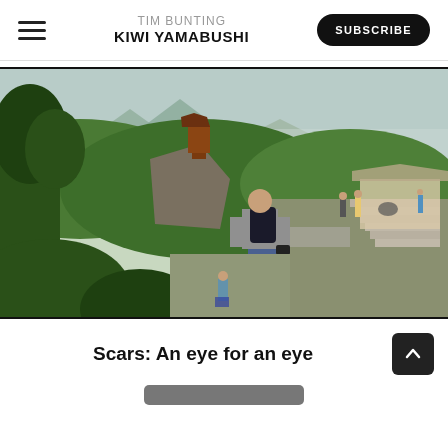TIM BUNTING KIWI YAMABUSHI
[Figure (photo): Person with backpack standing on a mountain overlook at a Japanese temple/shrine site, surrounded by green forested hills and mountains in the background. Steps and other visitors visible to the right, a pagoda-style tower visible on a rocky outcrop.]
Scars: An eye for an eye